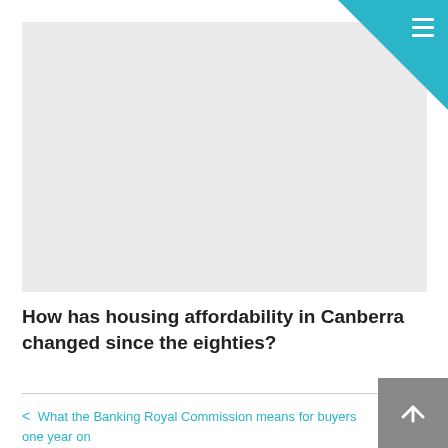[Figure (photo): Gray placeholder image area at the top of a web page article]
How has housing affordability in Canberra changed since the eighties?
< What the Banking Royal Commission means for buyers one year on